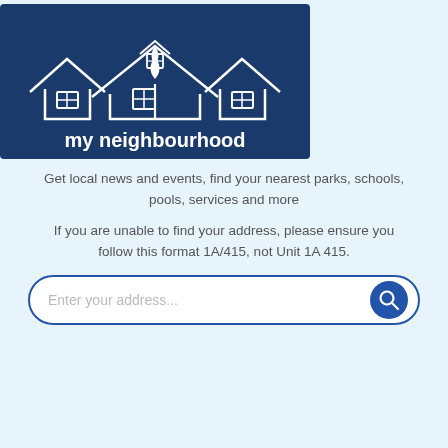[Figure (logo): My Neighbourhood logo: dark navy blue background with white outline of three houses and a tree, text 'my neighbourhood' in white below]
Get local news and events, find your nearest parks, schools, pools, services and more
If you are unable to find your address, please ensure you follow this format 1A/415, not Unit 1A 415.
[Figure (other): Search bar with placeholder text 'Enter your address...' and a blue search icon button]